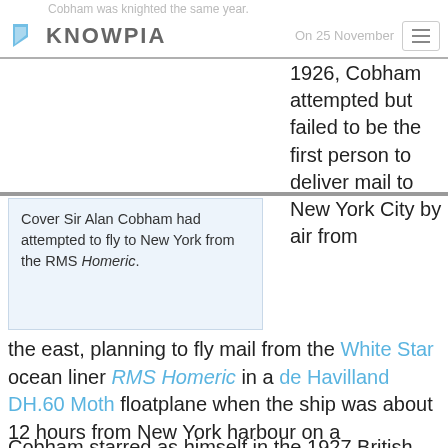Cobham was knighted the same year. KNOWPIA | On 25 November
[Figure (screenshot): Knowpia logo - blue icon and KNOWPIA text with hamburger menu]
Cover Sir Alan Cobham had attempted to fly to New York from the RMS Homeric.
On 25 November 1926, Cobham attempted but failed to be the first person to deliver mail to New York City by air from the east, planning to fly mail from the White Star ocean liner RMS Homeric in a de Havilland DH.60 Moth floatplane when the ship was about 12 hours from New York harbour on a westbound crossing from Southampton. After the Moth was lowered from the ship, however, Cobham was unable to take off owing to rough water and had to be towed into port by the ship. The same year Cobham was awarded the gold medal by the Fédération Aéronautique Internationale.[3]
Cobham starred as himself in the 1927 British war film…